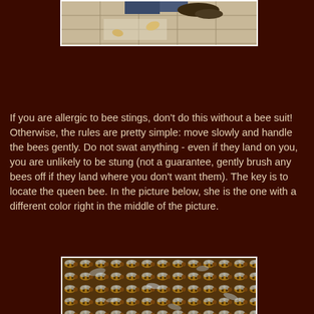[Figure (photo): Top portion of a photo showing tiled floor with some objects, partially cropped]
If you are allergic to bee stings, don't do this without a bee suit! Otherwise, the rules are pretty simple: move slowly and handle the bees gently. Do not swat anything - even if they land on you, you are unlikely to be stung (not a guarantee, gently brush any bees off if they land where you don't want them). The key is to locate the queen bee. In the picture below, she is the one with a different color right in the middle of the picture.
[Figure (photo): Close-up photo of a large cluster of bees, densely packed, showing honeybees with yellow and brown coloring and white wings]